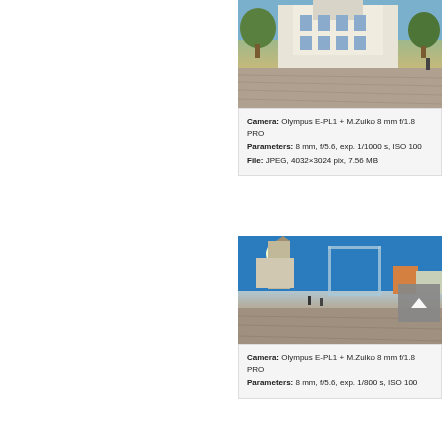[Figure (photo): Wide-angle fisheye photo of a historic town hall building with a cobblestone square in the foreground and trees]
Camera: Olympus E-PL1 + M.Zuiko 8 mm f/1.8 PRO
Parameters: 8 mm, f/5.6, exp. 1/1000 s, ISO 100
File: JPEG, 4032×3024 pix, 7.56 MB
[Figure (photo): Wide-angle fisheye photo of a town square with a church tower, modern glass art installation, and cobblestone pavement]
Camera: Olympus E-PL1 + M.Zuiko 8 mm f/1.8 PRO
Parameters: 8 mm, f/5.6, exp. 1/800 s, ISO 100